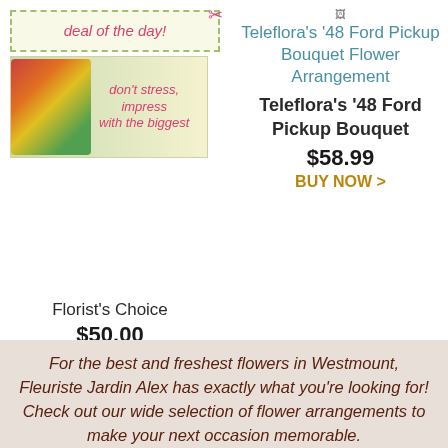[Figure (illustration): Deal of the day promotional box with dashed green border and pink ribbon, containing italic text 'deal of the day!']
[Figure (photo): Flower arrangement banner image showing colorful flowers with text 'don't stress, impress with the biggest']
[Figure (illustration): Broken image icon for Teleflora's '48 Ford Pickup Bouquet Flower Arrangement product]
Teleflora's '48 Ford Pickup Bouquet Flower Arrangement
Teleflora's '48 Ford Pickup Bouquet
$58.99
BUY NOW >
Florist's Choice
$50.00
BUY NOW >
For the best and freshest flowers in Westmount, Fleuriste Jardin Alex has exactly what you're looking for! Check out our wide selection of flower arrangements to make your next occasion memorable.